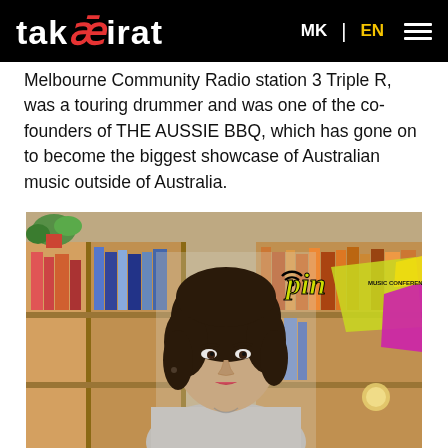taksirat | MK | EN
Melbourne Community Radio station 3 Triple R, was a touring drummer and was one of the co-founders of THE AUSSIE BBQ, which has gone on to become the biggest showcase of Australian music outside of Australia.
[Figure (photo): Portrait photo of a young woman with short dark hair, wearing a light grey top, seated in front of a bookshelf. A PIN Music Conference logo overlay appears in the upper right area of the photo.]